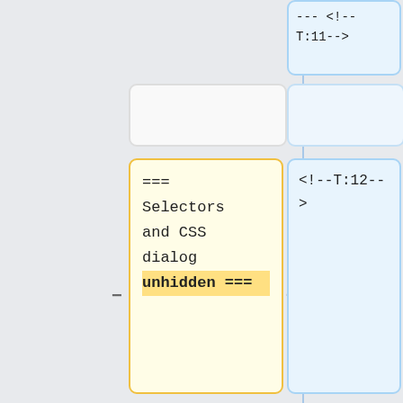[Figure (flowchart): A flowchart/diff view showing wiki-style content blocks. Left side has a vertical blue divider line with a grey sidebar. Right side shows two columns of content cards: yellow cards on the left with wiki markup text (=== Selectors and CSS dialog unhidden ===) and blue cards on the right with HTML comment markers (<!--T:12-->) and an img tag with src pointing to media.inkscape.org for Peek_2020-08-24_23-46.gif with style width:30%;max-width:400px;float:right;. Plus and minus connector symbols appear between the columns. Empty placeholder boxes appear at the top.]